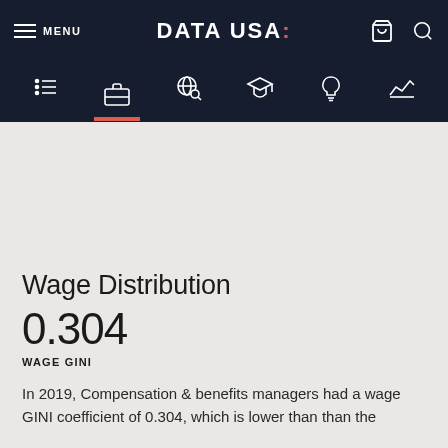MENU | DATA USA: | [cart] [search]
[Figure (screenshot): Navigation icon bar with list, briefcase (active), globe search, graduation cap, lightbulb, and chart icons on dark navy background. Briefcase icon has red underline indicator.]
Wage Distribution
0.304
WAGE GINI
In 2019, Compensation & benefits managers had a wage GINI coefficient of 0.304, which is lower than than the